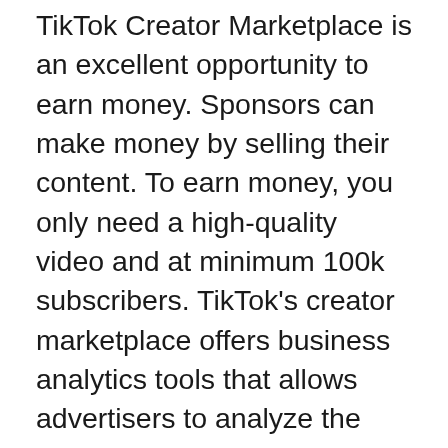TikTok Creator Marketplace is an excellent opportunity to earn money. Sponsors can make money by selling their content. To earn money, you only need a high-quality video and at minimum 100k subscribers. TikTok's creator marketplace offers business analytics tools that allows advertisers to analyze the demographics and engagement levels of their audience.
TikTok is a platform that allows you to share videos with millions of users. TikTok allows you to broadcast your videos to millions of users. You can earn money through promoting merchandise and services. This is a well-known online business that will grow as you create more content. It is also important to remember that you have to